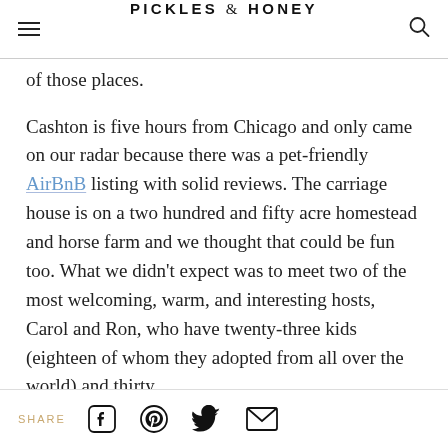PICKLES & HONEY
of those places.
Cashton is five hours from Chicago and only came on our radar because there was a pet-friendly AirBnB listing with solid reviews. The carriage house is on a two hundred and fifty acre homestead and horse farm and we thought that could be fun too. What we didn't expect was to meet two of the most welcoming, warm, and interesting hosts, Carol and Ron, who have twenty-three kids (eighteen of whom they adopted from all over the world) and thirty
SHARE